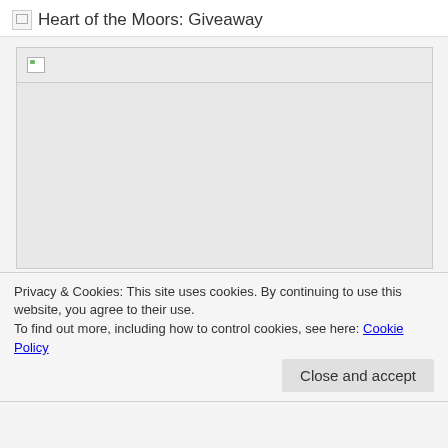Heart of the Moors: Giveaway
[Figure (illustration): Broken image placeholder box with a small broken image icon in the top-left corner, gray background]
Have you seen the new Maleficent: Mistress of Evil movie yet? My husband & I went last week, and I think I liked it even more than the first movie — AND it's gotten me even more excited to dive into Heart of the Moors by Holly Black, an original Maleficent story that takes place between the two live action
Privacy & Cookies: This site uses cookies. By continuing to use this website, you agree to their use.
To find out more, including how to control cookies, see here: Cookie Policy
Close and accept